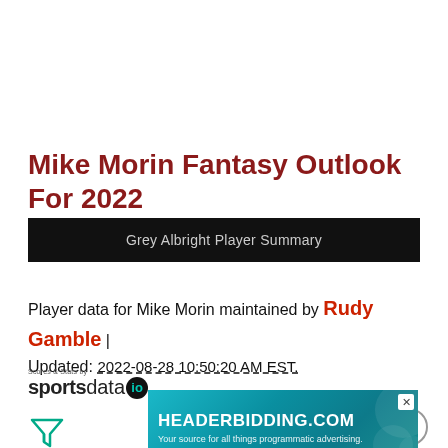Mike Morin Fantasy Outlook For 2022
Grey Albright Player Summary
Player data for Mike Morin maintained by Rudy Gamble | Updated: 2022-08-28 10:50:20 AM EST.
[Figure (logo): sportsdata.io logo]
[Figure (other): Filter/funnel icon]
[Figure (other): Close button circle with X]
[Figure (other): HEADERBIDDING.COM advertisement banner]